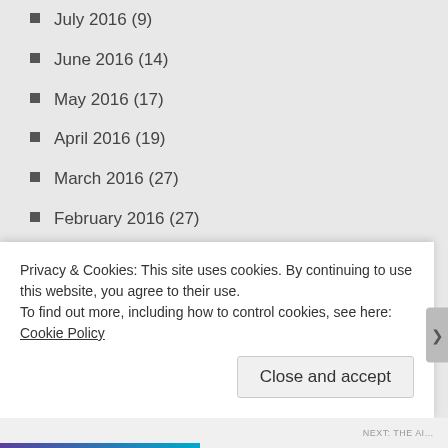July 2016 (9)
June 2016 (14)
May 2016 (17)
April 2016 (19)
March 2016 (27)
February 2016 (27)
January 2016 (32)
December 2015 (31)
November 2015 (30)
October 2015 (35)
September 2015 (29)
Privacy & Cookies: This site uses cookies. By continuing to use this website, you agree to their use.
To find out more, including how to control cookies, see here: Cookie Policy
Close and accept